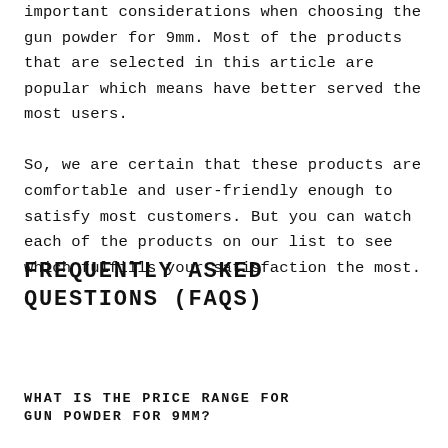important considerations when choosing the gun powder for 9mm. Most of the products that are selected in this article are popular which means have better served the most users.
So, we are certain that these products are comfortable and user-friendly enough to satisfy most customers. But you can watch each of the products on our list to see which fulfills your satisfaction the most.
FREQUENTLY ASKED QUESTIONS (FAQS)
WHAT IS THE PRICE RANGE FOR GUN POWDER FOR 9MM?